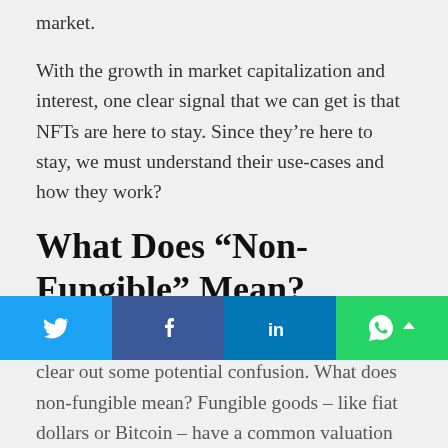market.
With the growth in market capitalization and interest, one clear signal that we can get is that NFTs are here to stay. Since they're here to stay, we must understand their use-cases and how they work?
What Does “Non-Fungible” Mean?
Before we dive into understanding NFTs, let’s clear out some potential confusion. What does non-fungible mean? Fungible goods – like fiat dollars or Bitcoin – have a common valuation
[Figure (infographic): Social media share buttons bar with Twitter, Facebook, LinkedIn, and WhatsApp icons]